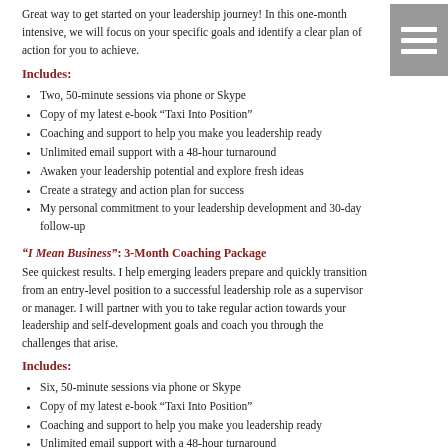Great way to get started on your leadership journey! In this one-month intensive, we will focus on your specific goals and identify a clear plan of action for you to achieve.
Includes:
Two, 50-minute sessions via phone or Skype
Copy of my latest e-book “Taxi Into Position”
Coaching and support to help you make you leadership ready
Unlimited email support with a 48-hour turnaround
Awaken your leadership potential and explore fresh ideas
Create a strategy and action plan for success
My personal commitment to your leadership development and 30-day follow-up
“I Mean Business”: 3-Month Coaching Package
See quickest results. I help emerging leaders prepare and quickly transition from an entry-level position to a successful leadership role as a supervisor or manager. I will partner with you to take regular action towards your leadership and self-development goals and coach you through the challenges that arise.
Includes:
Six, 50-minute sessions via phone or Skype
Copy of my latest e-book “Taxi Into Position”
Coaching and support to help you make you leadership ready
Unlimited email support with a 48-hour turnaround